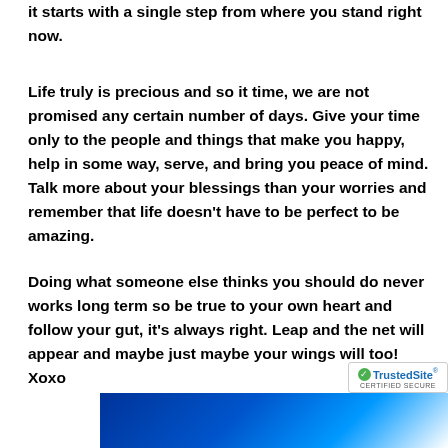it starts with a single step from where you stand right now.
Life truly is precious and so it time, we are not promised any certain number of days. Give your time only to the people and things that make you happy, help in some way, serve, and bring you peace of mind. Talk more about your blessings than your worries and remember that life doesn't have to be perfect to be amazing.
Doing what someone else thinks you should do never works long term so be true to your own heart and follow your gut, it's always right. Leap and the net will appear and maybe just maybe your wings will too! Xoxo
[Figure (logo): TrustedSite CERTIFIED SECURE badge with green checkmark]
[Figure (photo): Blue and white graphic/image at the bottom of the page]